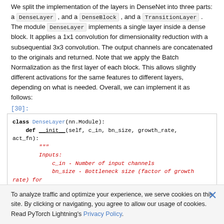We split the implementation of the layers in DenseNet into three parts: a DenseLayer, and a DenseBlock, and a TransitionLayer. The module DenseLayer implements a single layer inside a dense block. It applies a 1x1 convolution for dimensionality reduction with a subsequential 3x3 convolution. The output channels are concatenated to the originals and returned. Note that we apply the Batch Normalization as the first layer of each block. This allows slightly different activations for the same features to different layers, depending on what is needed. Overall, we can implement it as follows:
[30]:
class DenseLayer(nn.Module):
    def __init__(self, c_in, bn_size, growth_rate,
act_fn):
        """
        Inputs:
            c_in - Number of input channels
            bn_size - Bottleneck size (factor of growth rate) for the output of the 1x1 convolution. Typically between 2 and 4.
            growth_rate - Number of output channels of the 3x3 convolution
            act_fn - Activation class constructor (e.g. nn.ReLU)
        """
        super().__init__()
To analyze traffic and optimize your experience, we serve cookies on this site. By clicking or navigating, you agree to allow our usage of cookies. Read PyTorch Lightning's Privacy Policy.